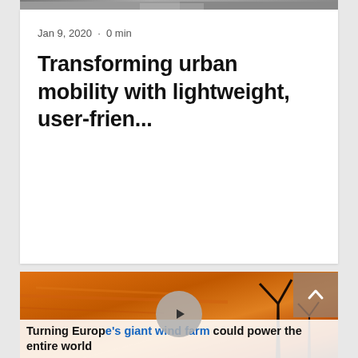[Figure (photo): Partial top image visible at very top of page, appears to be a person or object, cropped]
Jan 9, 2020  ·  0 min
Transforming urban mobility with lightweight, user-frien...
[Figure (photo): Wind turbines at sunset with orange sky background, video thumbnail with play button overlay]
Turning Europe's giant wind farm could power the entire world